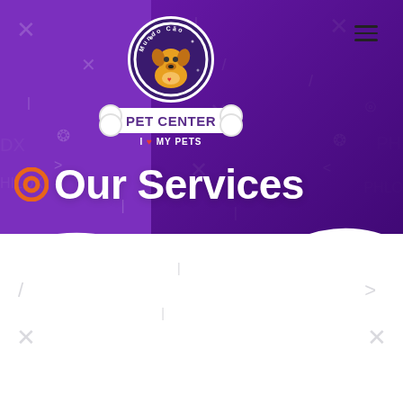[Figure (logo): Mundo Cão Pet Center logo with cartoon dog in purple circle and bone-shaped banner reading 'PET CENTER', tagline 'I ♥ MY PETS']
Our Services
[Figure (illustration): Purple-tinted hero section with watermark symbols (X, /, lotus, PH, LOX text), people silhouettes in background, wave divider at bottom transitioning to white]